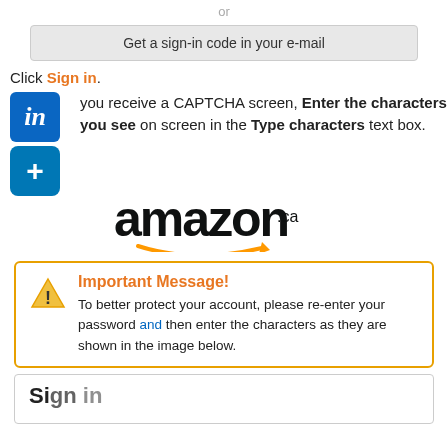or
Get a sign-in code in your e-mail
Click Sign in.
If you receive a CAPTCHA screen, Enter the characters you see on screen in the Type characters text box.
[Figure (logo): Amazon.ca logo with orange arrow]
Important Message! To better protect your account, please re-enter your password and then enter the characters as they are shown in the image below.
Sign in